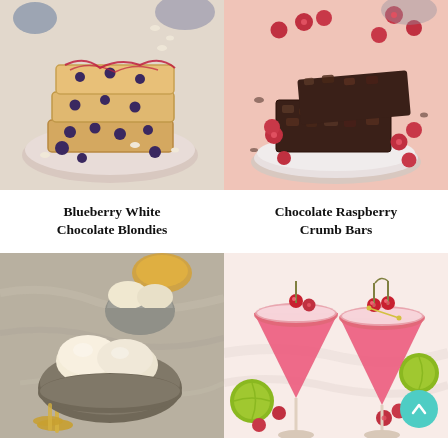[Figure (photo): Stack of blueberry white chocolate blondies on a plate with blueberries and white chocolate chips, drizzled with red sauce]
[Figure (photo): Chocolate raspberry crumb bars on a plate with fresh raspberries on a pink background]
Blueberry White Chocolate Blondies
Chocolate Raspberry Crumb Bars
[Figure (photo): Scoops of vanilla ice cream in grey ceramic bowls with gold spoons on marble surface]
[Figure (photo): Two pink cocktails in coupe glasses garnished with cherries and lime, with raspberries scattered around]